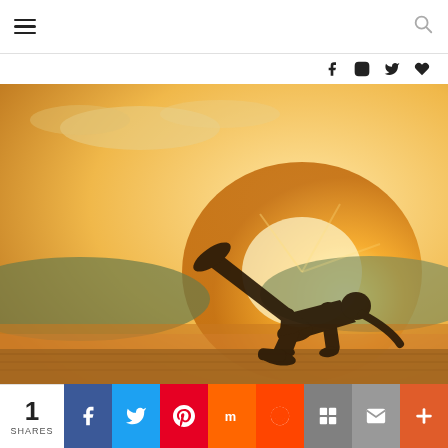Navigation header with hamburger menu and search icon
[Figure (photo): Silhouette of a woman doing a plank leg raise exercise on a wooden deck at sunset with mountains and water in the background. Warm golden light radiates from behind her.]
1 SHARES | Share buttons: Facebook, Twitter, Pinterest, Mix, Reddit, Flipboard, Email, More